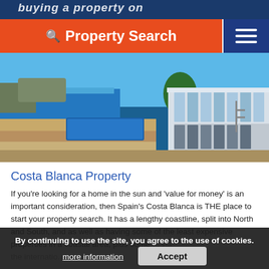buying a property on...
🔍 Property Search
[Figure (photo): Modern luxury villa with infinity pool overlooking the sea, with stone terrace, trees, and large glazed facade]
Costa Blanca Property
If you're looking for a home in the sun and 'value for money' is an important consideration, then Spain's Costa Blanca is THE place to start your property search. It has a lengthy coastline, split into North and South, and as well as having some of the least expensive properties in a coastal area, plus some ... via the internatio...ica.
The southern part of the Costa Blanca is a favourite with a
By continuing to use the site, you agree to the use of cookies.
more information   Accept